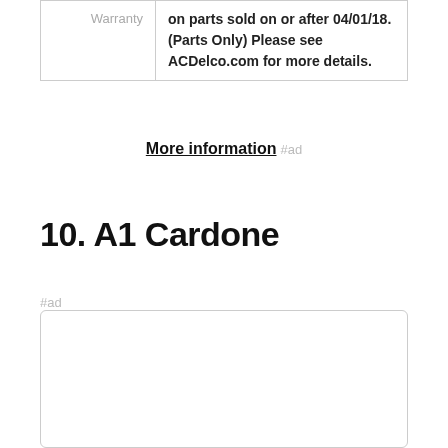|  |  |
| --- | --- |
| Warranty | on parts sold on or after 04/01/18. (Parts Only) Please see ACDelco.com for more details. |
More information #ad
10. A1 Cardone
#ad
As an Amazon Associate I earn from qualifying purchases. This website uses the only necessary cookies to ensure you get the best experience on our website. More information